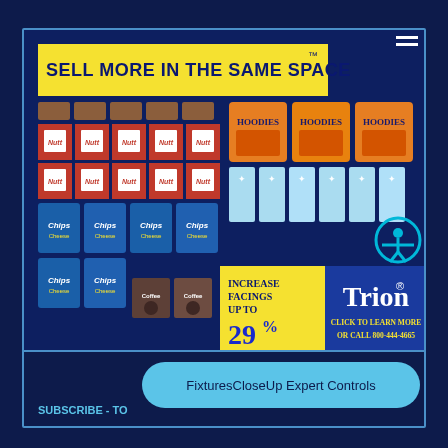[Figure (infographic): Trion advertisement banner showing retail shelf products (Nutt snack boxes, Chips bags, Hoodles noodle cups, toothbrushes, coffee products) with the headline SELL MORE IN THE SAME SPACE, INCREASE FACINGS UP TO 29%, Trion logo, CLICK TO LEARN MORE OR CALL 800-444-4665]
SUBSCRIBE - To
FixturesCloseUp Expert Controls